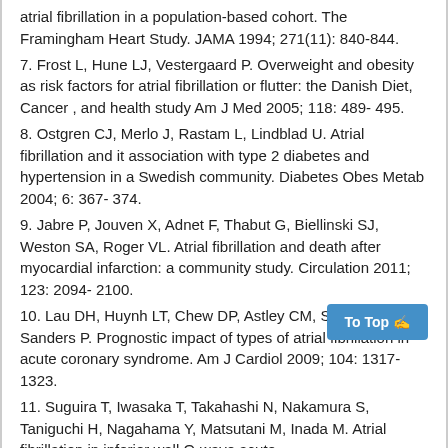atrial fibrillation in a population-based cohort. The Framingham Heart Study. JAMA 1994; 271(11): 840-844.
7. Frost L, Hune LJ, Vestergaard P. Overweight and obesity as risk factors for atrial fibrillation or flutter: the Danish Diet, Cancer , and health study Am J Med 2005; 118: 489- 495.
8. Ostgren CJ, Merlo J, Rastam L, Lindblad U. Atrial fibrillation and it association with type 2 diabetes and hypertension in a Swedish community. Diabetes Obes Metab 2004; 6: 367- 374.
9. Jabre P, Jouven X, Adnet F, Thabut G, Biellinski SJ, Weston SA, Roger VL. Atrial fibrillation and death after myocardial infarction: a community study. Circulation 2011; 123: 2094- 2100.
10. Lau DH, Huynh LT, Chew DP, Astley CM, Soman A, Sanders P. Prognostic impact of types of atrial fibrillation in acute coronary syndrome. Am J Cardiol 2009; 104: 1317- 1323.
11. Suguira T, Iwasaka T, Takahashi N, Nakamura S, Taniguchi H, Nagahama Y, Matsutani M, Inada M. Atrial fibrillation in inferior wall Q-wave acute